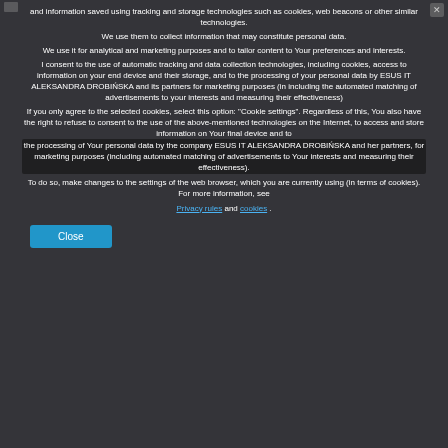and information saved using tracking and storage technologies such as cookies, web beacons or other similar technologies.
We use them to collect information that may constitute personal data.
We use it for analytical and marketing purposes and to tailor content to Your preferences and interests.
I consent to the use of automatic tracking and data collection technologies, including cookies, access to information on your end device and their storage, and to the processing of your personal data by ESUS IT ALEKSANDRA DROBIŃSKA and its partners for marketing purposes (in including the automated matching of advertisements to your interests and measuring their effectiveness)
If you only agree to the selected cookies, select this option: "Cookie settings". Regardless of this, You also have the right to refuse to consent to the use of the above-mentioned technologies on the Internet, to access and store information on Your final device and to the processing of Your personal data by the company ESUS IT ALEKSANDRA DROBIŃSKA and her partners, for marketing purposes (including automated matching of advertisements to Your interests and measuring their effectiveness).
To do so, make changes to the settings of the web browser, which you are currently using (in terms of cookies). For more information, see Privacy rules and cookies .
Close